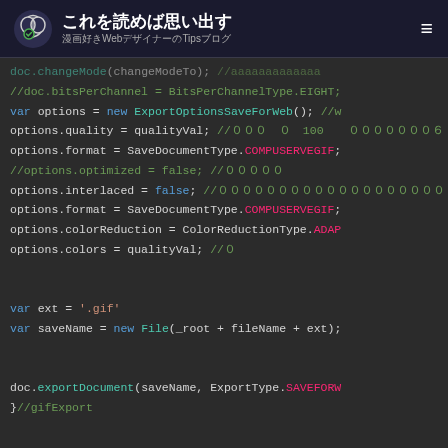これを読めば思い出す 漫画好きWebデザイナーのTipsブログ
[Figure (screenshot): Code editor screenshot showing JavaScript/ExtendScript code for Photoshop GIF export options, with syntax highlighting on dark background. Code includes var declarations, options object properties, ExportOptionsSaveForWeb, SaveDocumentType.COMPUSERVEGIF, ColorReductionType.ADAPTIVE, and doc.exportDocument calls.]